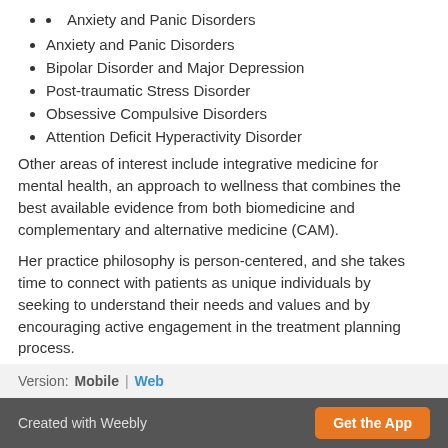Anxiety and Panic Disorders
Bipolar Disorder and Major Depression
Post-traumatic Stress Disorder
Obsessive Compulsive Disorders
Attention Deficit Hyperactivity Disorder
Other areas of interest include integrative medicine for mental health, an approach to wellness that combines the best available evidence from both biomedicine and complementary and alternative medicine (CAM).
Her practice philosophy is person-centered, and she takes time to connect with patients as unique individuals by seeking to understand their needs and values and by encouraging active engagement in the treatment planning process.
Version: Mobile | Web
Created with Weebly  Get the App